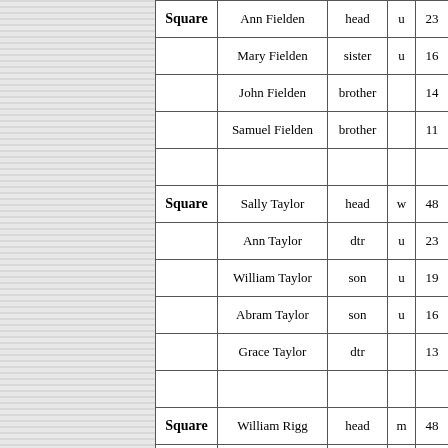| Square | Name | Relationship | M.S. | Age |
| --- | --- | --- | --- | --- |
| Square | Ann Fielden | head | u | 23 |
|  | Mary Fielden | sister | u | 16 |
|  | John Fielden | brother |  | 14 |
|  | Samuel Fielden | brother |  | 11 |
|  |  |  |  |  |
| Square | Sally Taylor | head | w | 48 |
|  | Ann Taylor | dtr | u | 23 |
|  | William Taylor | son | u | 19 |
|  | Abram Taylor | son | u | 16 |
|  | Grace Taylor | dtr |  | 13 |
|  |  |  |  |  |
| Square | William Rigg | head | m | 48 |
|  | Betty Rigg | wife | m | 48 |
|  | Thomas Rigg | son | u | 24 |
|  | James Rigg | son | u | 18 |
|  |  |  | u | 16 |
|  |  |  |  | 14 |
[Figure (other): Fold3 by Ancestry advertisement banner for Military Records with Search Now button]